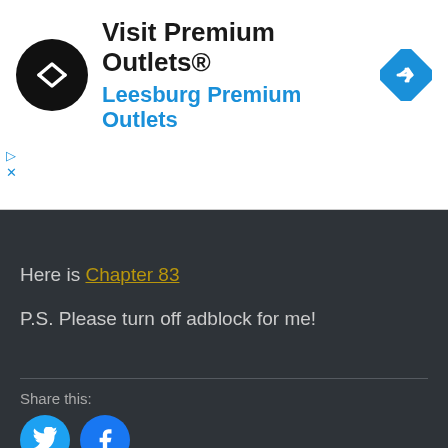[Figure (screenshot): Advertisement banner: Visit Premium Outlets® Leesburg Premium Outlets with logo circle and navigation arrow icon]
Here is Chapter 83
P.S. Please turn off adblock for me!
Share this:
[Figure (other): Twitter and Facebook share buttons as blue circles with icons]
Like this:
Loading...